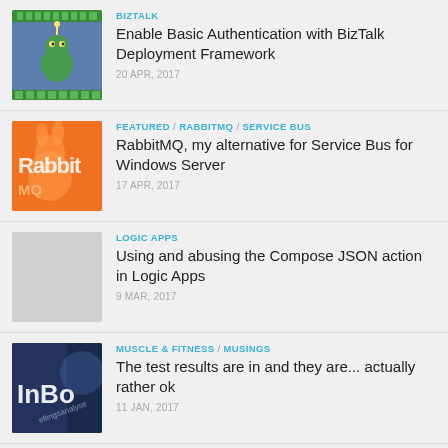BIZTALK | Enable Basic Authentication with BizTalk Deployment Framework | 20 APR, 2017
FEATURED / RABBITMQ / SERVICE BUS | RabbitMQ, my alternative for Service Bus for Windows Server | 17 APR, 2017
LOGIC APPS | Using and abusing the Compose JSON action in Logic Apps | 9 MAR, 2017
MUSCLE & FITNESS / MUSINGS | The test results are in and they are... actually rather ok | 11 JAN, 2017
.NET / BIZTALK